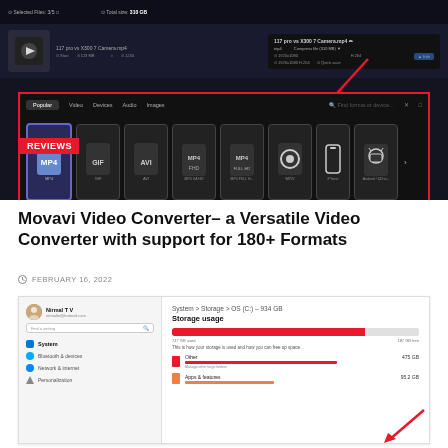[Figure (screenshot): Screenshot of Movavi Video Converter software showing format selection panel with MP4, GIF, AVI, MP4 FHD, MP4 FULL HD, MOV, iPhone, Android options, with a red border box highlighting the format tabs and a red arrow pointing to them. A 'REVIEWS' badge is shown in red.]
Movavi Video Converter– a Versatile Video Converter with support for 180+ Formats
FEBRUARY 16, 2022
[Figure (screenshot): Screenshot showing Windows 11 Settings – System > Storage > OS (C:) – 934 GB page with storage usage bar (747 GB used, 187 GB free), Other category (475 GB) with a sub-bar, and Apps & features (95.2 GB). Left panel shows user Nirmal T V with Windows Settings menu items: System, Bluetooth & devices, Network & internet, Personalization.]